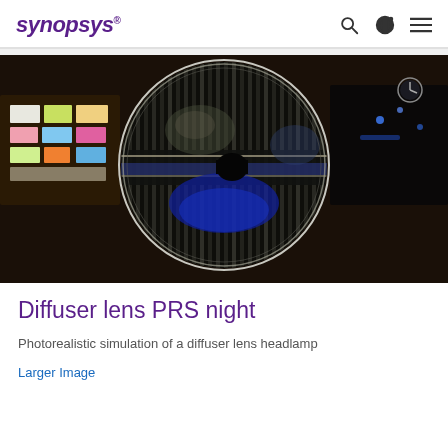SYNOPSYS
[Figure (photo): Photograph of a diffuser lens headlamp at night, showing a transparent circular glass lens with reflections of colorful city lights and blue illumination inside, set against a dark nighttime background.]
Diffuser lens PRS night
Photorealistic simulation of a diffuser lens headlamp
Larger Image